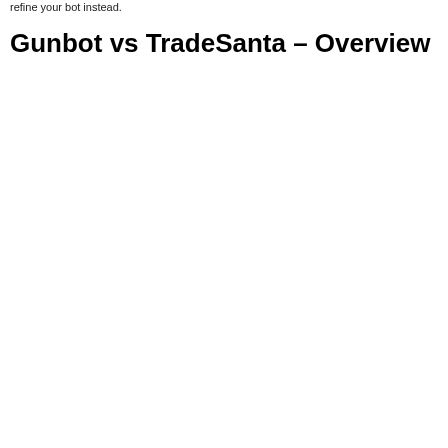refine your bot instead.
Gunbot vs TradeSanta – Overview